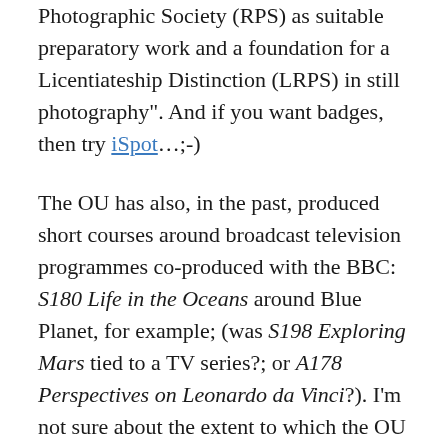Photographic Society (RPS) as suitable preparatory work and a foundation for a Licentiateship Distinction (LRPS) in still photography". And if you want badges, then try iSpot…;-)
The OU has also, in the past, produced short courses around broadcast television programmes co-produced with the BBC: S180 Life in the Oceans around Blue Planet, for example; (was S198 Exploring Mars tied to a TV series?; or A178 Perspectives on Leonardo da Vinci?). I'm not sure about the extent to which the OU is allowed to make use of BBC archive footage (could someone let me have a peek of the Sixth Agreement? Discretion assured/NDA